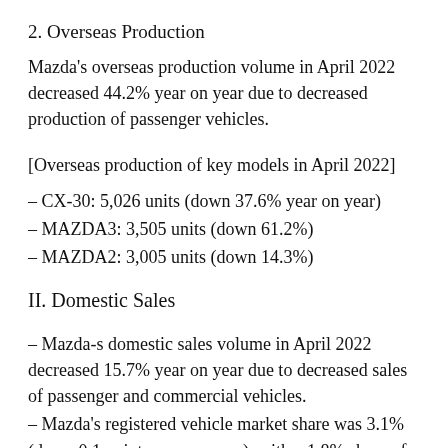2. Overseas Production
Mazda's overseas production volume in April 2022 decreased 44.2% year on year due to decreased production of passenger vehicles.
[Overseas production of key models in April 2022]
– CX-30: 5,026 units (down 37.6% year on year)
– MAZDA3: 3,505 units (down 61.2%)
– MAZDA2: 3,005 units (down 14.3%)
II. Domestic Sales
– Mazda-s domestic sales volume in April 2022 decreased 15.7% year on year due to decreased sales of passenger and commercial vehicles.
– Mazda's registered vehicle market share was 3.1% (down 0.1 points year on year), with a 1.8% share of the micro-mini segment (up 0.1 points) and a 2.6%